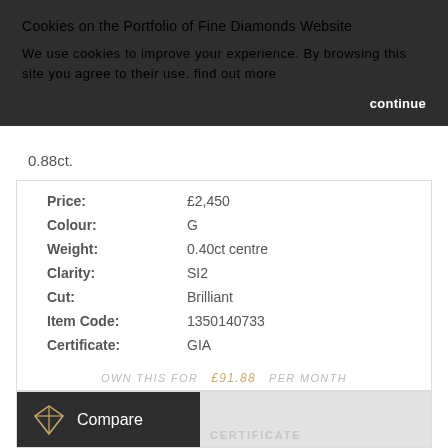Cookies on the Portfolio of Fine Diamonds Website
We use cookies to improve your experience. By browsing this site you agree to their use. find out more
continue
0.88ct.
| Field | Value |
| --- | --- |
| Price: | £2,450 |
| Colour: | G |
| Weight: | 0.40ct centre |
| Clarity: | SI2 |
| Cut: | Brilliant |
| Item Code: | 1350140733 |
| Certificate: | GIA |
OWN THIS FOR  £91.88  PER MONTH
Compare